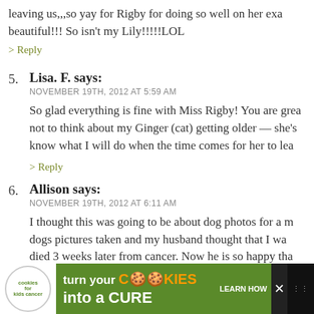leaving us,,,so yay for Rigby for doing so well on her exa beautiful!!! So isn't my Lily!!!!!LOL
> Reply
5. Lisa. F. says:
NOVEMBER 19TH, 2012 AT 5:59 AM
So glad everything is fine with Miss Rigby! You are grea not to think about my Ginger (cat) getting older — she's know what I will do when the time comes for her to lea
> Reply
6. Allison says:
NOVEMBER 19TH, 2012 AT 6:11 AM
I thought this was going to be about dog photos for a m dogs pictures taken and my husband thought that I wa died 3 weeks later from cancer. Now he is so happy tha She was like our child, since we do not have any. They q apart of your family. Here is the link to the photos of ou
[Figure (infographic): Advertisement banner for Cookies for Kids Cancer: turn your cookies into a CURE LEARN HOW]